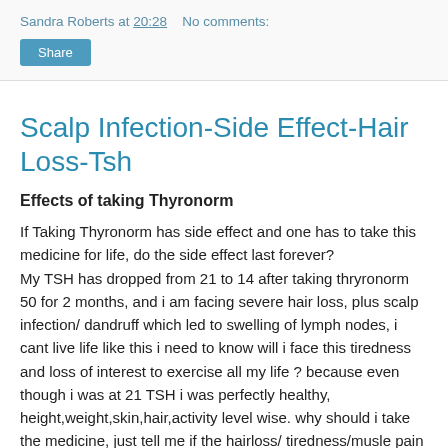Sandra Roberts at 20:28   No comments:
Share
Scalp Infection-Side Effect-Hair Loss-Tsh
Effects of taking Thyronorm
If Taking Thyronorm has side effect and one has to take this medicine for life, do the side effect last forever?
My TSH has dropped from 21 to 14 after taking thryronorm 50 for 2 months, and i am facing severe hair loss, plus scalp infection/ dandruff which led to swelling of lymph nodes, i cant live life like this i need to know will i face this tiredness and loss of interest to exercise all my life ? because even though i was at 21 TSH i was perfectly healthy, height,weight,skin,hair,activity level wise. why should i take the medicine, just tell me if the hairloss/ tiredness/musle pain will be in control after tsh is normal? please reply - Post a